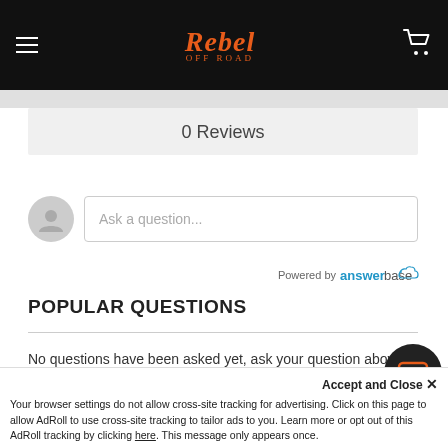[Figure (screenshot): Rebel Off Road website header with hamburger menu, logo, and cart icon on black background]
0 Reviews
Ask a question...
Powered by answerbase
POPULAR QUESTIONS
No questions have been asked yet, ask your question above.
William in Lake Forest, United States purchased Fight 13
Accept and Close ✕
Your browser settings do not allow cross-site tracking for advertising. Click on this page to allow AdRoll to use cross-site tracking to tailor ads to you. Learn more or opt out of this AdRoll tracking by clicking here. This message only appears once.